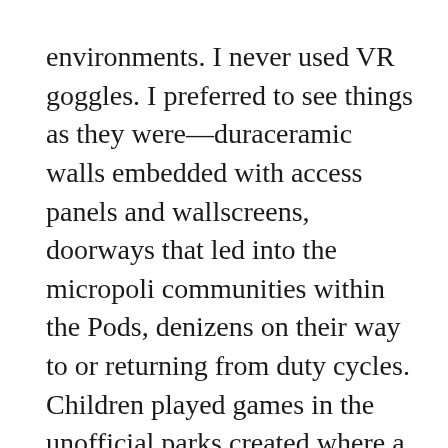environments. I never used VR goggles. I preferred to see things as they were—duraceramic walls embedded with access panels and wallscreens, doorways that led into the micropoli communities within the Pods, denizens on their way to or returning from duty cycles. Children played games in the unofficial parks created where a bit of open space presented itself.
Walking the loop reminded me of the other everything—the reason for our journey, the establishment of a new